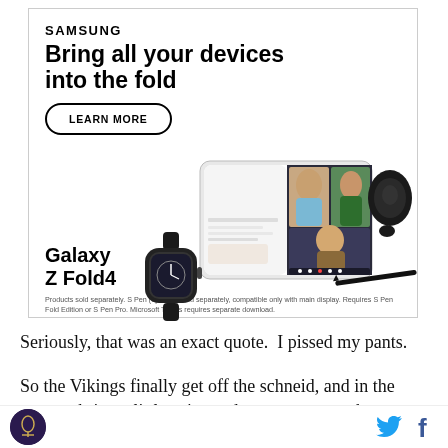[Figure (advertisement): Samsung Galaxy Z Fold4 advertisement. Shows Samsung branding, headline 'Bring all your devices into the fold', a 'LEARN MORE' button, product name 'Galaxy Z Fold4', and images of a smartwatch, a foldable phone with a video call on screen, wireless earbuds, and an S Pen.]
Products sold separately. S Pen (optional) sold separately, compatible only with main display. Requires S Pen Fold Edition or S Pen Pro. Microsoft Teams requires separate download.
Seriously, that was an exact quote.  I pissed my pants.
So the Vikings finally get off the schneid, and in the process bring a little spice and controversy to the season.  And historically, the Vikings are STILL